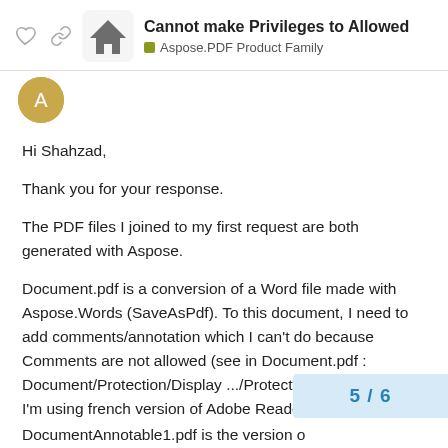Cannot make Privileges to Allowed — Aspose.PDF Product Family
Hi Shahzad,
Thank you for your response.
The PDF files I joined to my first request are both generated with Aspose.
Document.pdf is a conversion of a Word file made with Aspose.Words (SaveAsPdf). To this document, I need to add comments/annotation which I can't do because Comments are not allowed (see in Document.pdf : Document/Protection/Display .../Protection : Restrictions). I'm using french version of Adobe Reader 9.3.1
DocumentAnnotable1.pdf is the version o